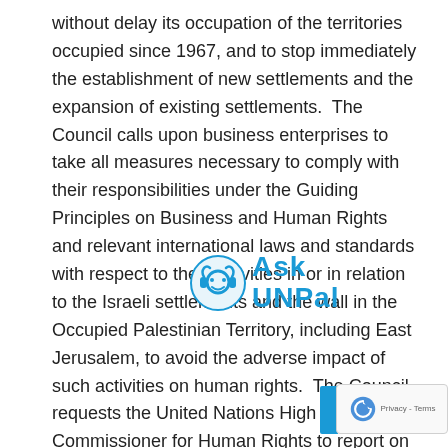without delay its occupation of the territories occupied since 1967, and to stop immediately the establishment of new settlements and the expansion of existing settlements.  The Council calls upon business enterprises to take all measures necessary to comply with their responsibilities under the Guiding Principles on Business and Human Rights and relevant international laws and standards with respect to their activities in or in relation to the Israeli settlements and the wall in the Occupied Palestinian Territory, including East Jerusalem, to avoid the adverse impact of such activities on human rights.  The Council requests the United Nations High Commissioner for Human Rights to report on the implementation of the provisions of this resolution at the Council's fifty-second session.

The results of the vote are as follows:

In favour (38): Argentina, Armenia, Benin, Bolivia, China, Côte d'Ivoire, Cuba, Eritrea, Finland, France, Gabon, Gambia, Germany, India, Indonesia, Japan, Kazakhstan, Libya,
[Figure (logo): Ask UNPal watermark logo with blue headset icon and blue text reading 'Ask UNPal']